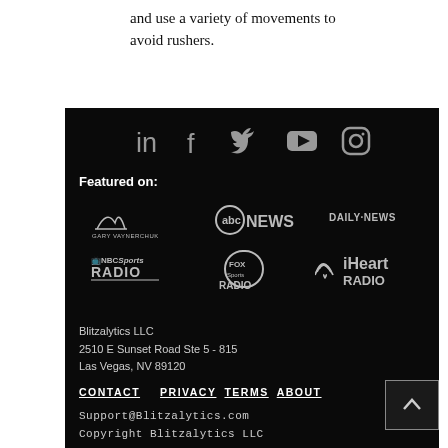and use a variety of movements to avoid rushers.
[Figure (other): Website footer with social media icons (LinkedIn, Facebook, Twitter, YouTube, Instagram), 'Featured on:' section with logos (Gary Vaynerchuk, abc NEWS, Daily News, NBC Sports Radio, Fox Sports Radio, iHeart Radio), address (Blitzalytics LLC, 2510 E Sunset Road Ste 5 - 815, Las Vegas, NV 89120), navigation links (CONTACT, PRIVACY, TERMS, ABOUT), email (Support@Blitzalytics.com), and copyright (Copyright Blitzalytics LLC)]